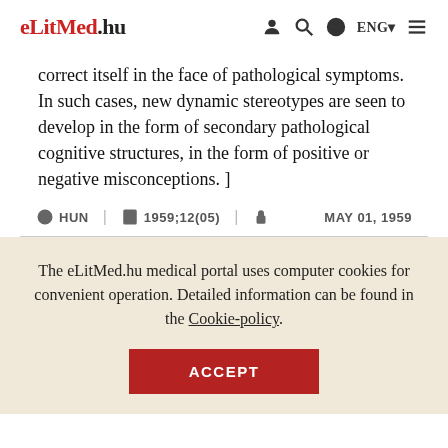eLitMed.hu | ENG
correct itself in the face of pathological symptoms. In such cases, new dynamic stereotypes are seen to develop in the form of secondary pathological cognitive structures, in the form of positive or negative misconceptions. ]
HUN | 1959;12(05) | MAY 01, 1959
The eLitMed.hu medical portal uses computer cookies for convenient operation. Detailed information can be found in the Cookie-policy.
ACCEPT